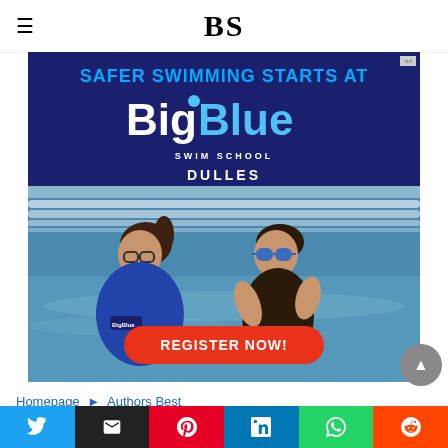BS
[Figure (photo): Big Blue Swim School advertisement. Dark navy background with text 'SAFER SWIMMING STARTS AT' in blue, BigBlue Swim School logo in white, DULLES in white, and a photo of a swim instructor in a BigBlue navy shirt with a child wearing blue goggles in a pool. Red oval button reads 'REGISTER NOW!']
Homepage ► Authors Best
[Figure (other): Social sharing buttons: Twitter (blue), Email (black), Pinterest (red), LinkedIn (blue), WhatsApp (green), Reddit (orange-red)]